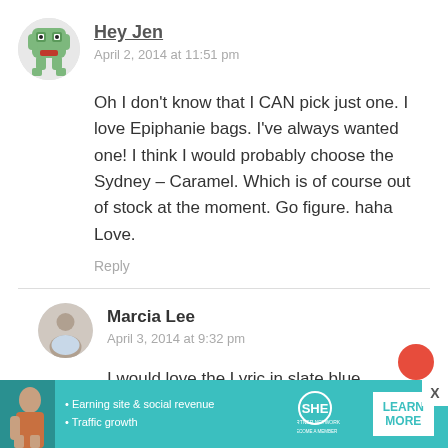Hey Jen
April 2, 2014 at 11:51 pm
Oh I don't know that I CAN pick just one. I love Epiphanie bags. I've always wanted one! I think I would probably choose the Sydney – Caramel. Which is of course out of stock at the moment. Go figure. haha Love.
Reply
Marcia Lee
April 3, 2014 at 9:32 pm
I would love the Lyric in slate blue.
[Figure (infographic): SHE Partner Network advertisement banner with teal background, woman photo, bullet points about earning site & social revenue and traffic growth, SHE logo, and LEARN MORE button]